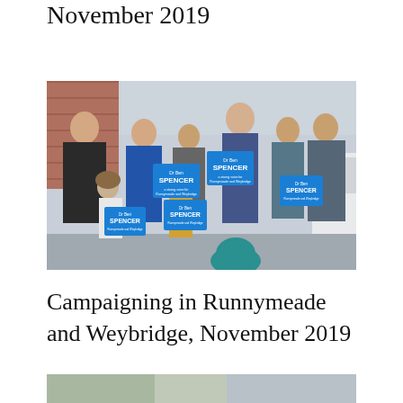November 2019
[Figure (photo): Group photo of campaigners holding Dr Ben Spencer signs during a canvassing session in Runnymeade and Weybridge, November 2019. Several adults and two children are visible, some holding blue campaign placards reading 'Dr Ben SPENCER'.]
Campaigning in Runnymeade and Weybridge, November 2019
[Figure (photo): Partial view of another campaign photo, cropped at the bottom of the page.]